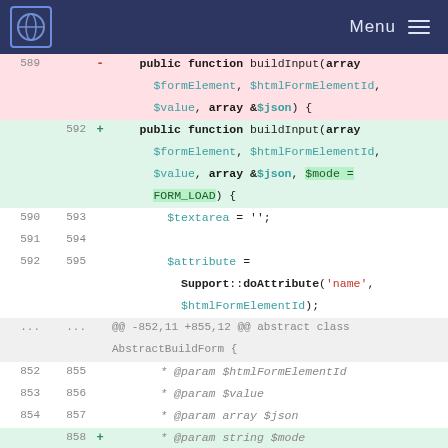Menu
[Figure (screenshot): Code diff view showing changes to a PHP buildInput function signature adding a $mode parameter with default value FORM_LOAD, and associated @param documentation. Line numbers shown for old (589-854) and new (592-859) versions. Deleted lines highlighted in red, inserted lines in green, with $mode = FORM_LOAD highlighted in a brighter green.]